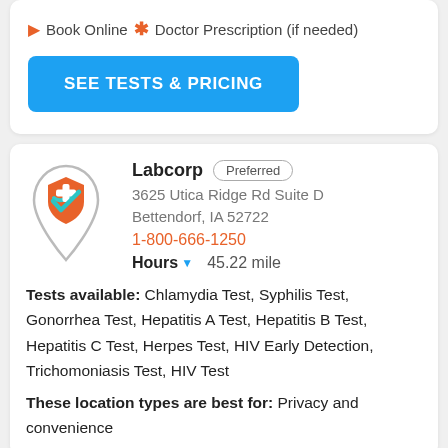Book Online  * Doctor Prescription (if needed)
SEE TESTS & PRICING
Labcorp  Preferred
3625 Utica Ridge Rd Suite D
Bettendorf, IA 52722
1-800-666-1250
Hours  45.22 mile
Tests available: Chlamydia Test, Syphilis Test, Gonorrhea Test, Hepatitis A Test, Hepatitis B Test, Hepatitis C Test, Herpes Test, HIV Early Detection, Trichomoniasis Test, HIV Test
These location types are best for: Privacy and convenience